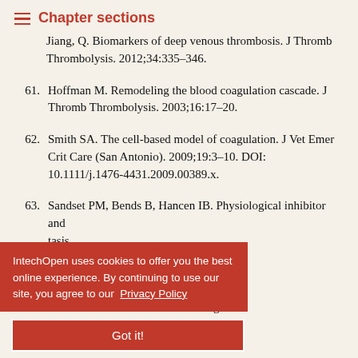Chapter sections
Jiang, Q. Biomarkers of deep venous thrombosis. J Thromb Thrombolysis. 2012;34:335–346.
61. Hoffman M. Remodeling the blood coagulation cascade. J Thromb Thrombolysis. 2003;16:17–20.
62. Smith SA. The cell-based model of coagulation. J Vet Emer Crit Care (San Antonio). 2009;19:3–10. DOI: 10.1111/j.1476-4431.2009.00389.x.
63. Sandset PM, Bends B, Hancen IB. Physiological inhibitor and tasis.
egnault V, de T, Béguin S. The calibrated automated thrombogramm
IntechOpen uses cookies to offer you the best online experience. By continuing to use our site, you agree to our Privacy Policy
Got it!